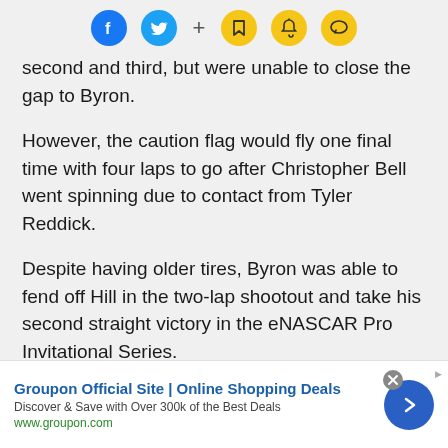Social sharing icons: Facebook, Twitter, +, Bookmark, Bell, Chat
second and third, but were unable to close the gap to Byron.
However, the caution flag would fly one final time with four laps to go after Christopher Bell went spinning due to contact from Tyler Reddick.
Despite having older tires, Byron was able to fend off Hill in the two-lap shootout and take his second straight victory in the eNASCAR Pro Invitational Series.
"Honestly, not," Byron said when asked if he would be in the NASCAR Cup Series if it weren't for
[Figure (infographic): Advertisement banner: Groupon Official Site | Online Shopping Deals. Discover & Save with Over 300k of the Best Deals. www.groupon.com. Blue arrow button on right, close X button top right.]